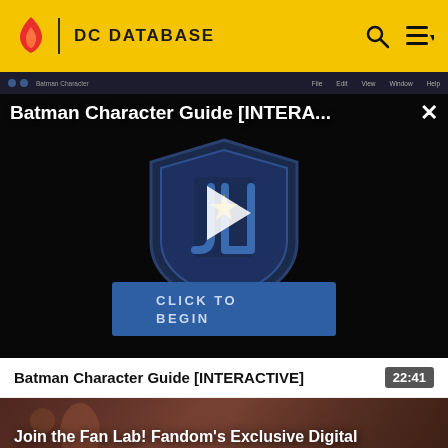DC DATABASE
[Figure (screenshot): Video player showing Batman Character Guide [INTERACTIVE] with a play button and Justice League shield logo on dark background, with a 'CLICK TO BEGIN' button]
Batman Character Guide [INTERACTIVE]
22:41
[Figure (photo): Photo of a person, partially visible, with text overlay 'Join the Fan Lab! Fandom's Exclusive Digital Community']